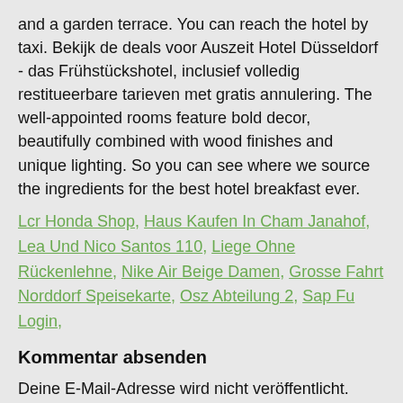and a garden terrace. You can reach the hotel by taxi. Bekijk de deals voor Auszeit Hotel Düsseldorf - das Frühstückshotel, inclusief volledig restitueerbare tarieven met gratis annulering. The well-appointed rooms feature bold decor, beautifully combined with wood finishes and unique lighting. So you can see where we source the ingredients for the best hotel breakfast ever.
Lcr Honda Shop, Haus Kaufen In Cham Janahof, Lea Und Nico Santos 110, Liege Ohne Rückenlehne, Nike Air Beige Damen, Grosse Fahrt Norddorf Speisekarte, Osz Abteilung 2, Sap Fu Login,
Kommentar absenden
Deine E-Mail-Adresse wird nicht veröffentlicht. Erforderliche Felder sind mit * markiert.
Kommentar